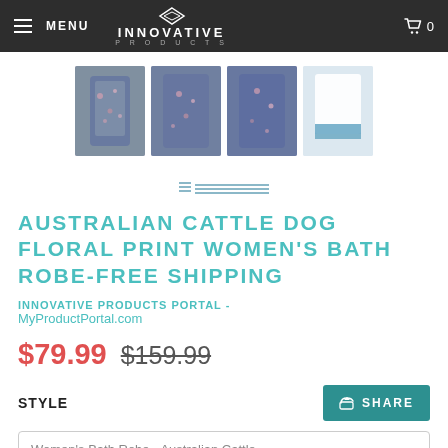MENU  INNOVATIVE PRODUCTS  0
[Figure (photo): Four product thumbnail images of women's bath robes with floral print and one with blue stripe pattern]
[Figure (other): Pagination indicator with horizontal lines]
AUSTRALIAN CATTLE DOG FLORAL PRINT WOMEN'S BATH ROBE-FREE SHIPPING
INNOVATIVE PRODUCTS PORTAL - MyProductPortal.com
$79.99  $159.99
STYLE
Women's Bath Robe - Australian Cattle